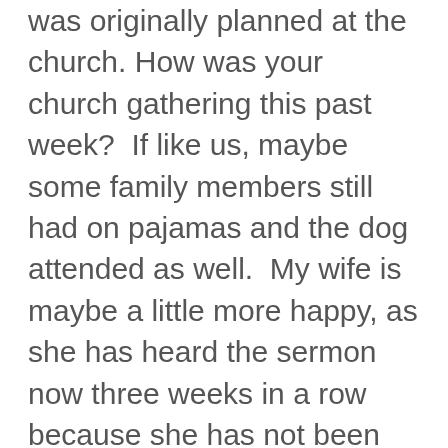was originally planned at the church. How was your church gathering this past week?  If like us, maybe some family members still had on pajamas and the dog attended as well.  My wife is maybe a little more happy, as she has heard the sermon now three weeks in a row because she has not been downstairs helping with kids, like she normally does. I know the Youth Group has had several opportunities to meet virtually each week using their phones and computers for Jetson's style video chats.  We did the same with our small group a couple times and we had a great time of worship and